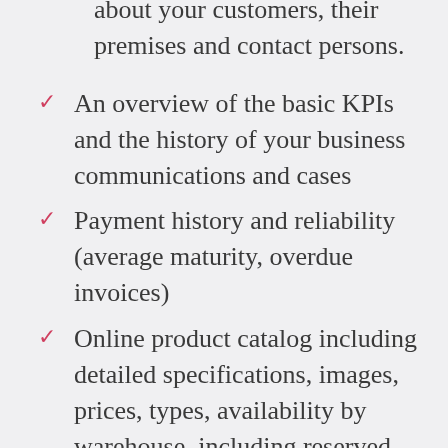about your customers, their premises and contact persons.
An overview of the basic KPIs and the history of your business communications and cases
Payment history and reliability (average maturity, overdue invoices)
Online product catalog including detailed specifications, images, prices, types, availability by warehouse, including reserved items or expected date of